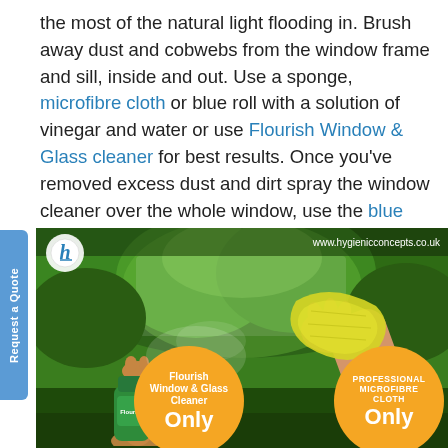the most of the natural light flooding in. Brush away dust and cobwebs from the window frame and sill, inside and out. Use a sponge, microfibre cloth or blue roll with a solution of vinegar and water or use Flourish Window & Glass cleaner for best results. Once you've removed excess dust and dirt spray the window cleaner over the whole window, use the blue roll to wipe over and buff till sparkling clean.
[Figure (photo): Advertisement image for Flourish Window & Glass Cleaner and Professional Microfibre Cloth. A hand holds a green spray bottle (Flourish cleaner) spraying a window, and another hand wipes with a yellow microfibre cloth, with a lush green forest background. Orange circles at the bottom show product names and 'Only' price labels. Website www.hygienicconcepts.co.uk shown at top right, Hc logo at top left. 'Request a Quote' sidebar on left.]